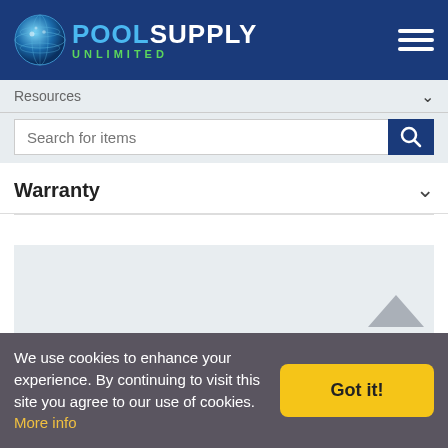[Figure (logo): Pool Supply Unlimited logo with globe icon, blue and white text, green UNLIMITED subtitle]
Resources
Search for items
Warranty
[Figure (other): Gray banner advertisement area with triangle shape]
BACK TO
[Figure (photo): Pool product/device partially visible at bottom of page]
We use cookies to enhance your experience. By continuing to visit this site you agree to our use of cookies. More info